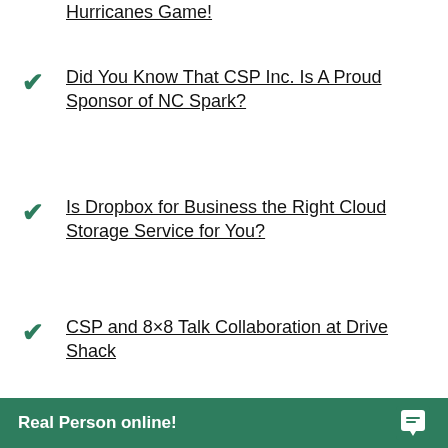Hurricanes Game!
Did You Know That CSP Inc. Is A Proud Sponsor of NC Spark?
Is Dropbox for Business the Right Cloud Storage Service for You?
CSP and 8×8 Talk Collaboration at Drive Shack
CSP Continues Support For Raleigh Rescue Mission
Congratulations...
Real Person online!